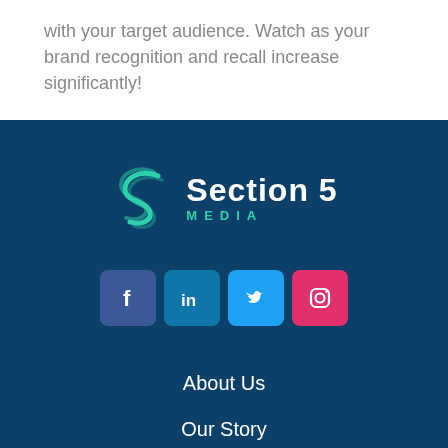with your target audience. Watch as your brand recognition and recall increase significantly!
[Figure (logo): Section 5 Media logo with teal S icon and white/teal text]
[Figure (infographic): Social media icons: Facebook (dark blue), LinkedIn (blue), Twitter (light blue), Instagram (pink/red)]
About Us
Our Story